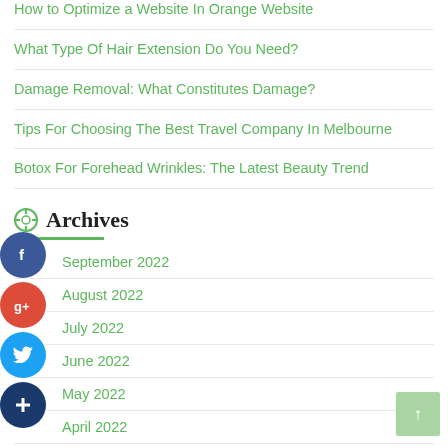How to Optimize a Website In Orange Website
What Type Of Hair Extension Do You Need?
Damage Removal: What Constitutes Damage?
Tips For Choosing The Best Travel Company In Melbourne
Botox For Forehead Wrinkles: The Latest Beauty Trend
Archives
September 2022
August 2022
July 2022
June 2022
May 2022
April 2022